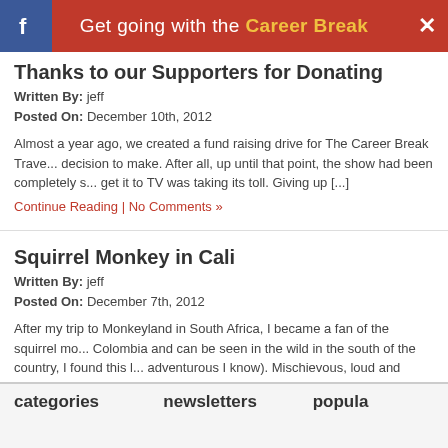Get going with the Career Break
Thanks to our Supporters for Donating
Written By: jeff
Posted On: December 10th, 2012
Almost a year ago, we created a fund raising drive for The Career Break Trave... decision to make. After all, up until that point, the show had been completely s... get it to TV was taking its toll. Giving up [...]
Continue Reading | No Comments »
Squirrel Monkey in Cali
Written By: jeff
Posted On: December 7th, 2012
After my trip to Monkeyland in South Africa, I became a fan of the squirrel mo... Colombia and can be seen in the wild in the south of the country, I found this l... adventurous I know). Mischievous, loud and occasionally aggressive [...]
Continue Reading | No Comments »
« Older Entries
« Older Entries
categories | newsletters | popula